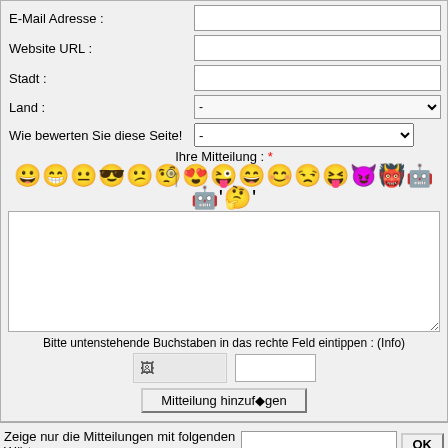E-Mail Adresse :
Website URL :
Stadt :
Land :
Wie bewerten Sie diese Seite!
Ihre Mitteilung : *
[Figure (illustration): Row of emoji/smiley face icons]
Bitte untenstehende Buchstaben in das rechte Feld eintippen : (Info)
Mitteilung hinzufügen
Zeige nur die Mitteilungen mit folgenden Wörtern :
Mitteilungen : 11 von 20
Seite : 2
<< zurück
1-2-3-4-5-6
(Austria)
Punkte : -/10